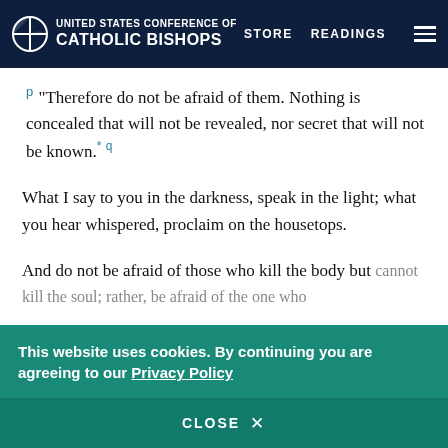United States Conference of Catholic Bishops | STORE | READINGS
p “Therefore do not be afraid of them. Nothing is concealed that will not be revealed, nor secret that will not be known.* q
What I say to you in the darkness, speak in the light; what you hear whispered, proclaim on the housetops.
And do not be afraid of those who kill the body but cannot kill the soul; rather, be afraid of the one who
This website uses cookies. By continuing you are agreeing to our Privacy Policy
CLOSE  X